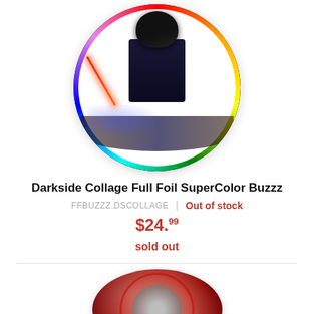[Figure (photo): A round holographic Discraft disc golf disc with a Star Wars Darkside Collage design featuring Darth Vader, stormtroopers, and other characters with colorful holographic rainbow border]
Darkside Collage Full Foil SuperColor Buzzz
FFBUZZZ.DSCOLLAGE  |  Out of stock
$24.99
sold out
[Figure (photo): A round red glitter disc golf disc with a dark center design, partially visible at the bottom of the page]